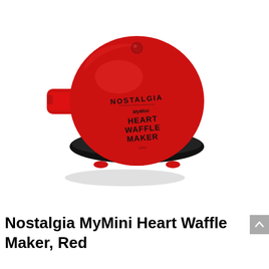[Figure (photo): Red Nostalgia MyMini Heart Waffle Maker appliance shown from above at an angle. The round red body has a small red indicator light on top and black text reading 'NOSTALGIA' and 'MyMini HEART WAFFLE MAKER' with a steam icon. A handle protrudes to the left. The base is dark/black. The background is white.]
Nostalgia MyMini Heart Waffle Maker, Red